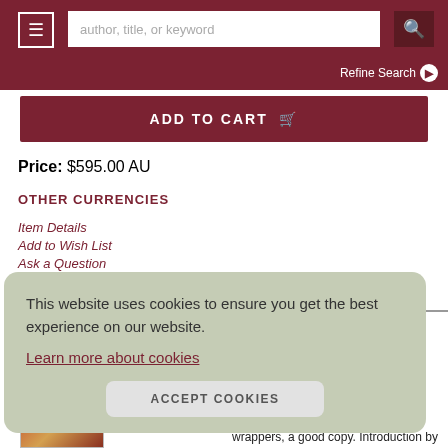[Figure (screenshot): Website header with hamburger menu, search bar, and search icon on dark red background]
Refine Search ▶
ADD TO CART 🛒
Price: $595.00 AU
OTHER CURRENCIES
Item Details
Add to Wish List
Ask a Question
This website uses cookies to ensure you get the best experience on our website. Learn more about cookies
ACCEPT COOKIES
Wales. hite able, wrappers, a good copy. Introduction by